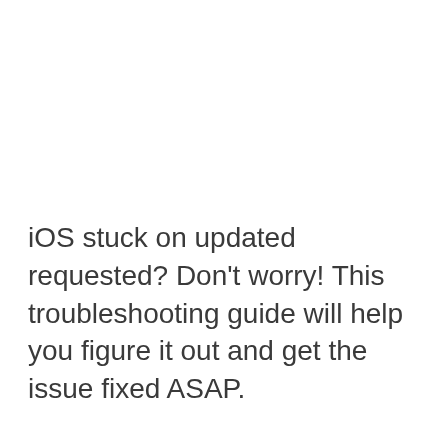iOS stuck on updated requested? Don't worry! This troubleshooting guide will help you figure it out and get the issue fixed ASAP.